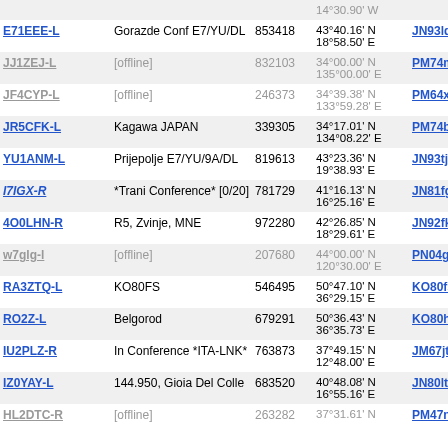| Callsign | Description | Node | Coordinates | Grid | Num |
| --- | --- | --- | --- | --- | --- |
| E71EEE-L | Gorazde Conf E7/YU/DL | 853418 | 43°40.16' N 18°58.50' E | JN93lq | 6148 |
| JJ1ZEJ-L | [offline] | 832103 | 34°00.00' N 135°00.00' E | PM74ma | 6158 |
| JF4CYP-L | [offline] | 246373 | 34°39.38' N 133°59.28' E | PM64xp | 6171 |
| JR5CFK-L | Kagawa JAPAN | 339305 | 34°17.01' N 134°08.22' E | PM74bg | 6182 |
| YU1ANM-L | Prijepolje E7/YU/9A/DL | 819613 | 43°23.36' N 19°38.93' E | JN93tj | 6185 |
| I7IGX-R | *Trani Conference* [0/20] | 781729 | 41°16.13' N 16°25.16' E | JN81fg | 6187 |
| 4O0LHN-R | R5, Zvinje, MNE | 972280 | 42°26.85' N 18°29.61' E | JN92fk | 6197 |
| w7glg-l | [offline] | 207680 | 44°00.00' N 120°30.00' E | PN04ga | 6198 |
| RA3ZTQ-L | KO80FS | 546495 | 50°47.10' N 36°29.15' E | KO80fs | 6206 |
| RO2Z-L | Belgorod | 679291 | 50°36.43' N 36°35.73' E | KO80ho | 6219 |
| IU2PLZ-R | In Conference *ITA-LNK* | 763873 | 37°49.15' N 12°48.00' E | JM67jt | 6228 |
| IZ0YAY-L | 144.950, Gioia Del Colle | 683520 | 40°48.08' N 16°55.16' E | JN80lt | 6228 |
| HL2DTC-R | [offline] | 263282 | 37°31.61' N | PM47nm | 6230 |